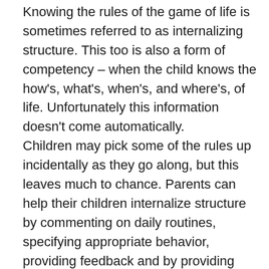Knowing the rules of the game of life is sometimes referred to as internalizing structure. This too is also a form of competency – when the child knows the how's, what's, when's, and where's, of life. Unfortunately this information doesn't come automatically.        Children may pick some of the rules up incidentally as they go along, but this leaves much to chance. Parents can help their children internalize structure by commenting on daily routines, specifying appropriate behavior, providing feedback and by providing consequences for undesirable behavior.
These four ingredients, valuing, competency, good deeds, and structure form the basic building blocks for the development of self-esteem. And why develop self-esteem in children? Children with healthy self-esteem feel good about themselves, relate well to others, behave more